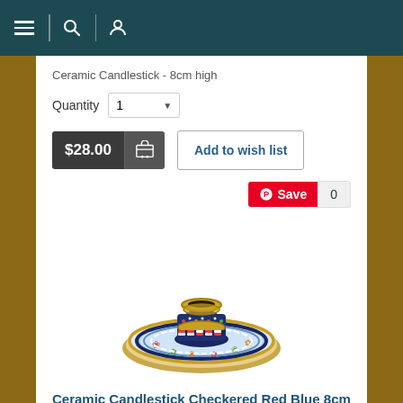Navigation bar with menu, search, and user icons
Ceramic Candlestick - 8cm high
Quantity  1
$28.00  Add to wish list
Save  0
[Figure (photo): Ceramic candlestick with colorful checkered red and blue pattern on a decorative plate, 8cm high]
Ceramic Candlestick Checkered Red Blue 8cm
Ceramic Candlestick - 8cm high